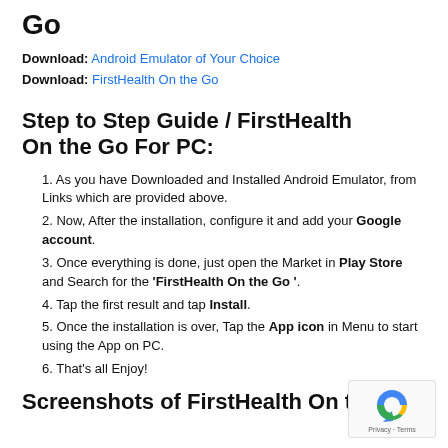Go
Download: Android Emulator of Your Choice
Download: FirstHealth On the Go
Step to Step Guide / FirstHealth On the Go For PC:
1. As you have Downloaded and Installed Android Emulator, from Links which are provided above.
2. Now, After the installation, configure it and add your Google account.
3. Once everything is done, just open the Market in Play Store and Search for the 'FirstHealth On the Go '.
4. Tap the first result and tap Install.
5. Once the installation is over, Tap the App icon in Menu to start using the App on PC.
6. That's all Enjoy!
Screenshots of FirstHealth On the Go